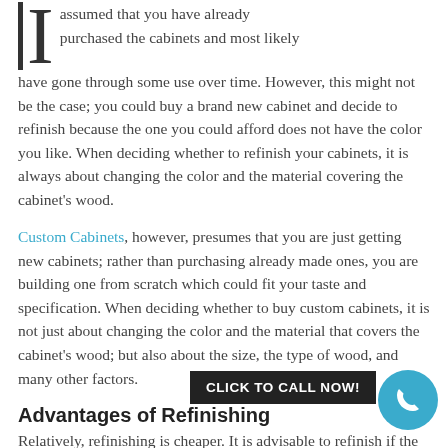assumed that you have already purchased the cabinets and most likely have gone through some use over time. However, this might not be the case; you could buy a brand new cabinet and decide to refinish because the one you could afford does not have the color you like. When deciding whether to refinish your cabinets, it is always about changing the color and the material covering the cabinet's wood.
Custom Cabinets, however, presumes that you are just getting new cabinets; rather than purchasing already made ones, you are building one from scratch which could fit your taste and specification. When deciding whether to buy custom cabinets, it is not just about changing the color and the material that covers the cabinet's wood; but also about the size, the type of wood, and many other factors.
Advantages of Refinishing
Relatively, refinishing is cheaper. It is advisable to refinish if the quality of the cabinet has not deteriorated significantly. The only thing that needs changing in the refinishing process is the finish or